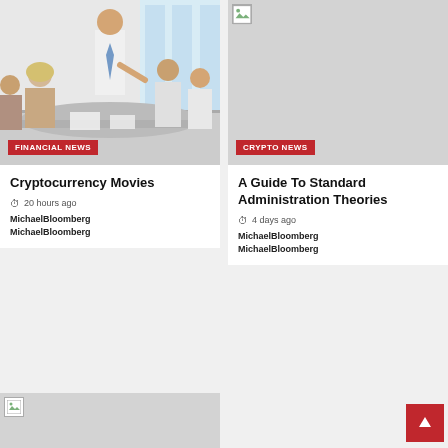[Figure (photo): Business meeting photo showing a man in a white shirt and tie presenting to a group of people seated around a table in an office with large windows.]
FINANCIAL NEWS
Cryptocurrency Movies
20 hours ago
MichaelBloomberg
MichaelBloomberg
[Figure (photo): Gray placeholder image with broken image icon in top left corner.]
CRYPTO NEWS
A Guide To Standard Administration Theories
4 days ago
MichaelBloomberg
MichaelBloomberg
[Figure (photo): Gray placeholder image with broken image icon in top left corner.]
[Figure (photo): Partial view of another article image at the bottom right showing people in an office setting.]